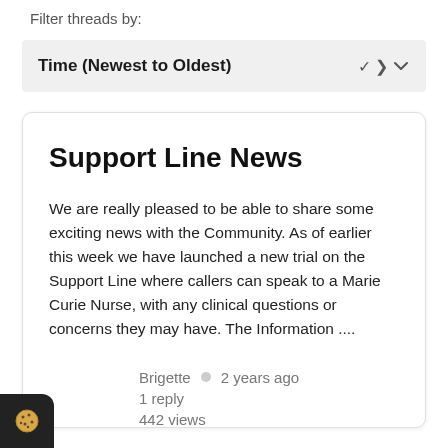Filter threads by:
Time (Newest to Oldest)
Support Line News
We are really pleased to be able to share some exciting news with the Community. As of earlier this week we have launched a new trial on the Support Line where callers can speak to a Marie Curie Nurse, with any clinical questions or concerns they may have. The Information ....
Brigette  •  2 years ago
1 reply
442 views